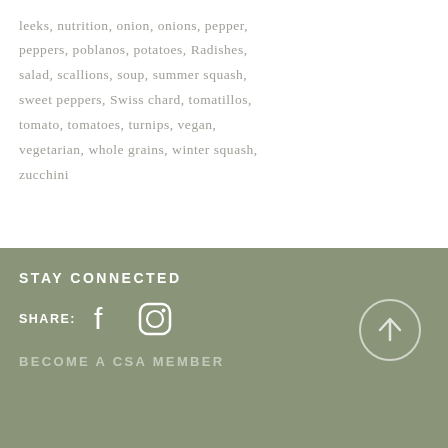leeks, nutrition, onion, onions, pepper, peppers, poblanos, potatoes, Radishes, salad, scallions, soup, summer squash, sweet peppers, Swiss chard, tomatillos, tomato, tomatoes, turnips, vegan, vegetarian, whole grains, winter squash, zucchini
STAY CONNECTED
SHARE:
[Figure (other): Facebook and Instagram social media icons in white on sage green background]
BECOME A CSA MEMBER